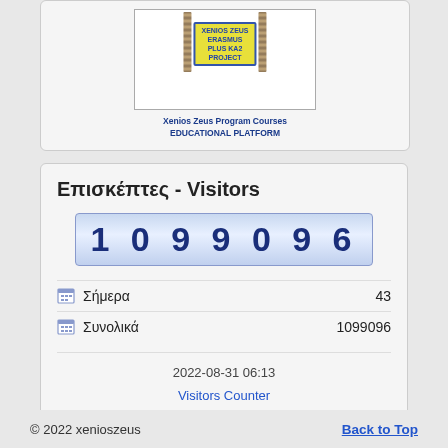[Figure (logo): Xenios Zeus Erasmus Plus KA2 Project logo with two pillars and yellow banner. Text: Xenios Zeus Program Courses EDUCATIONAL PLATFORM]
Επισκέπτες - Visitors
1099096
Σήμερα   43
Συνολικά   1099096
2022-08-31 06:13
Visitors Counter
© 2022 xenioszeus   Back to Top